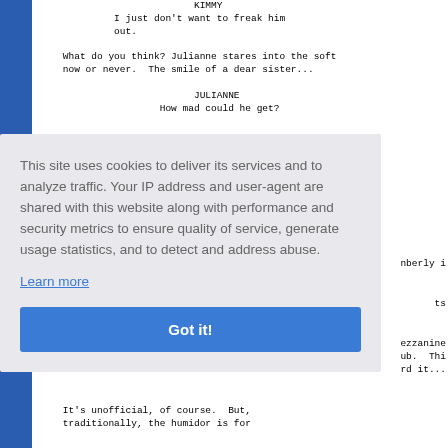KIMMY
        I just don't want to freak him
        out.

    What do you think? Julianne stares into the soft
    now or never.  The smile of a dear sister...

                             JULIANNE
                       How mad could he get?
nberly i

ts

ezzanine
ub.  Thi
rd it...

It's unofficial, of course.  But,
traditionally, the humidor is for
This site uses cookies to deliver its services and to analyze traffic. Your IP address and user-agent are shared with this website along with performance and security metrics to ensure quality of service, generate usage statistics, and to detect and address abuse.
Learn more
Got it!